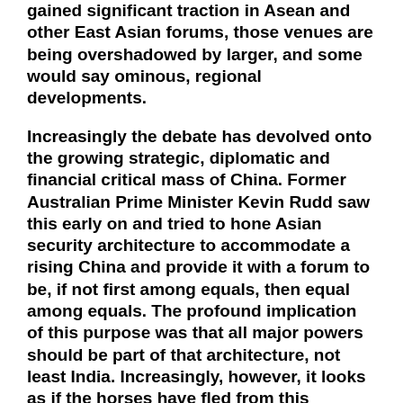gained significant traction in Asean and other East Asian forums, those venues are being overshadowed by larger, and some would say ominous, regional developments.
Increasingly the debate has devolved onto the growing strategic, diplomatic and financial critical mass of China. Former Australian Prime Minister Kevin Rudd saw this early on and tried to hone Asian security architecture to accommodate a rising China and provide it with a forum to be, if not first among equals, then equal among equals. The profound implication of this purpose was that all major powers should be part of that architecture, not least India. Increasingly, however, it looks as if the horses have fled from this particular stable. Rudd lost interest in his Asian architecture in favor of the G-20. More important, the rise of China and to a lesser extent India has “gone around the edges” of existing Asian architecture.
Initially at least, it looks as if China holds the key. How China chooses to rise to power in Asia will be the principal factor in the future of Asian security. And...